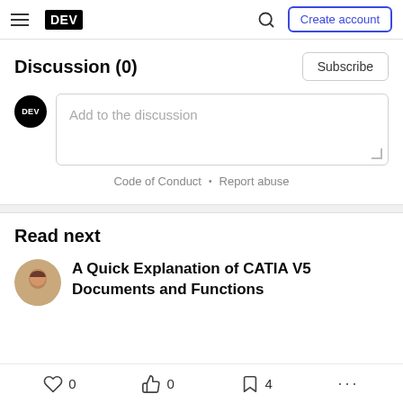DEV — Create account
Discussion (0)
Subscribe
Add to the discussion
Code of Conduct · Report abuse
Read next
A Quick Explanation of CATIA V5 Documents and Functions
0  0  4  ...